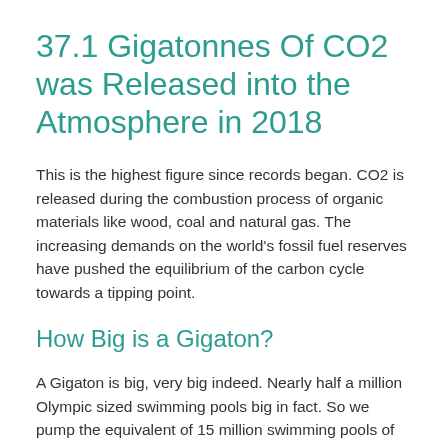37.1 Gigatonnes Of CO2 was Released into the Atmosphere in 2018
This is the highest figure since records began. CO2 is released during the combustion process of organic materials like wood, coal and natural gas. The increasing demands on the world's fossil fuel reserves have pushed the equilibrium of the carbon cycle towards a tipping point.
How Big is a Gigaton?
A Gigaton is big, very big indeed. Nearly half a million Olympic sized swimming pools big in fact. So we pump the equivalent of 15 million swimming pools of CO2 into the atmosphere each year. And that's not the end of the story, CO2 is a gas and swimming pools are full of water which is heavier, so the volume of 37.1 Gigatons is over 8000 million swimming pools and we're back to